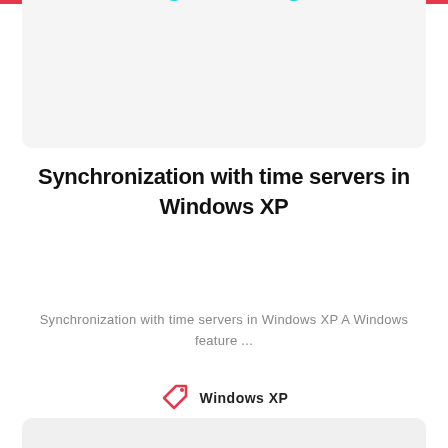[Figure (illustration): Top card with a teal/cyan partial circle arc visible at the top, on a light gray background card with a red/pink top border stripe.]
Synchronization with time servers in Windows XP
Synchronization with time servers in Windows XP A Windows feature ...
Windows XP
[Figure (screenshot): Bottom card section showing a light gray card with a purple pill-shaped badge showing a flame icon, '605', a clock icon, and '1'.]